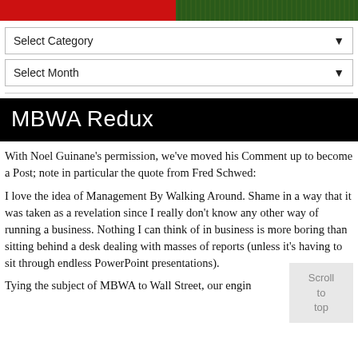[Figure (photo): Two side-by-side banner images: left is solid red, right shows green grass/turf texture]
Select Category ▼
Select Month ▼
MBWA Redux
With Noel Guinane's permission, we've moved his Comment up to become a Post; note in particular the quote from Fred Schwed:
I love the idea of Management By Walking Around. Shame in a way that it was taken as a revelation since I really don't know any other way of running a business. Nothing I can think of in business is more boring than sitting behind a desk dealing with masses of reports (unless it's having to sit through endless PowerPoint presentations).
Tying the subject of MBWA to Wall Street, our engin